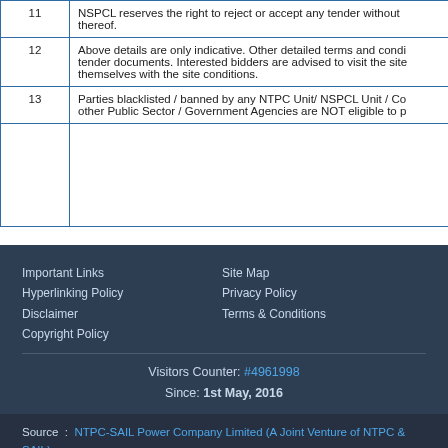| # | Description |  |
| --- | --- | --- |
| 11 | NSPCL reserves the right to reject or accept any tender without thereof. |  |
| 12 | Above details are only indicative. Other detailed terms and conditions are in tender documents. Interested bidders are advised to visit the site themselves with the site conditions. |  |
| 13 | Parties blacklisted / banned by any NTPC Unit/ NSPCL Unit / Co other Public Sector / Government Agencies are NOT eligible to p |  |
|  |  |  |
Important Links | Hyperlinking Policy | Disclaimer | Copyright Policy | Site Map | Privacy Policy | Terms & Conditions
Visitors Counter: #4961998 Since: 1st May, 2016
Source : NTPC-SAIL Power Company Limited (A Joint Venture of NTPC & SAIL)